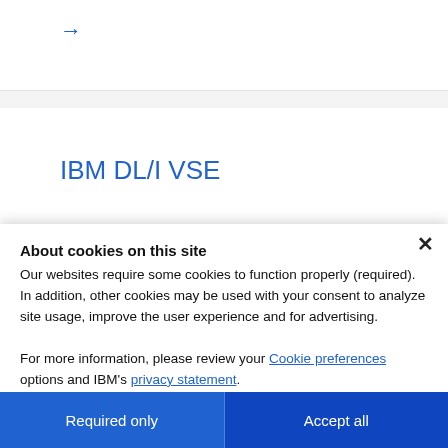[Figure (screenshot): Arrow icon pointing right in blue color]
IBM DL/I VSE
At tiri si...
About cookies on this site
Our websites require some cookies to function properly (required). In addition, other cookies may be used with your consent to analyze site usage, improve the user experience and for advertising.

For more information, please review your Cookie preferences options and IBM's privacy statement.